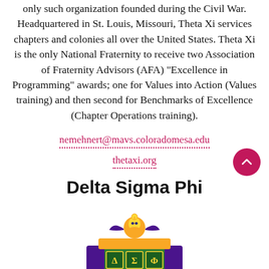only such organization founded during the Civil War. Headquartered in St. Louis, Missouri, Theta Xi services chapters and colonies all over the United States. Theta Xi is the only National Fraternity to receive two Association of Fraternity Advisors (AFA) "Excellence in Programming" awards; one for Values into Action (Values training) and then second for Benchmarks of Excellence (Chapter Operations training).
nemehnert@mavs.coloradomesa.edu
thetaxi.org
Delta Sigma Phi
[Figure (logo): Delta Sigma Phi fraternity coat of arms / crest showing an Egyptian-style emblem with purple, green, and gold colors, featuring a sphinx figure at top and shield with symbols below]